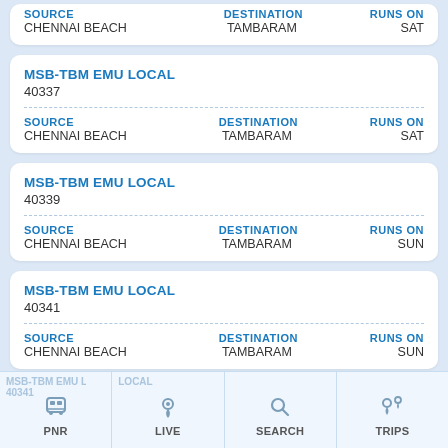SOURCE: CHENNAI BEACH | DESTINATION: TAMBARAM | RUNS ON: SAT
MSB-TBM EMU LOCAL
40337
SOURCE: CHENNAI BEACH | DESTINATION: TAMBARAM | RUNS ON: SAT
MSB-TBM EMU LOCAL
40339
SOURCE: CHENNAI BEACH | DESTINATION: TAMBARAM | RUNS ON: SUN
MSB-TBM EMU LOCAL
40341
SOURCE: CHENNAI BEACH | DESTINATION: TAMBARAM | RUNS ON: SUN
PNR | LIVE | SEARCH | TRIPS